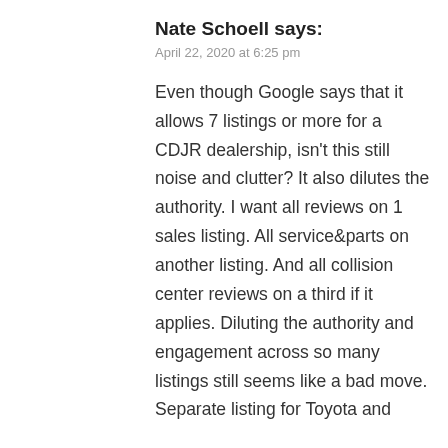Nate Schoell says:
April 22, 2020 at 6:25 pm
Even though Google says that it allows 7 listings or more for a CDJR dealership, isn't this still noise and clutter? It also dilutes the authority. I want all reviews on 1 sales listing. All service&parts on another listing. And all collision center reviews on a third if it applies. Diluting the authority and engagement across so many listings still seems like a bad move. Separate listing for Toyota and